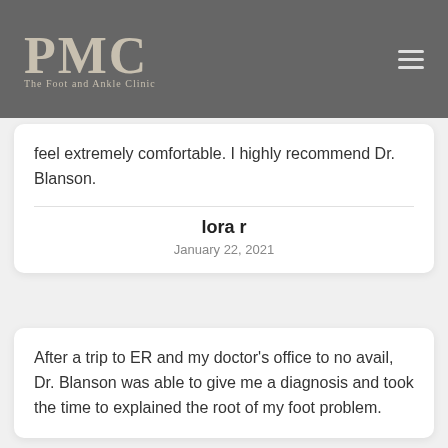[Figure (logo): PMC The Foot and Ankle Clinic logo on dark gray header background with hamburger menu icon]
feel extremely comfortable. I highly recommend Dr. Blanson.
lora r
January 22, 2021
After a trip to ER and my doctor's office to no avail, Dr. Blanson was able to give me a diagnosis and took the time to explained the root of my foot problem.